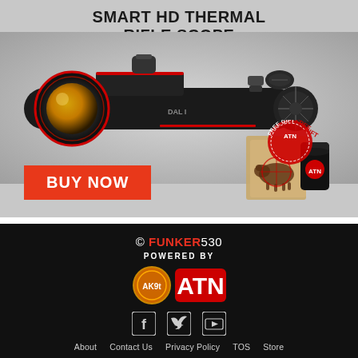[Figure (advertisement): ATN Smart HD Thermal Rifle Scope advertisement showing a black rifle scope on grey background, with a red BUY NOW button, and a FREE GIFT badge in lower right showing ATN tumbler and target graphic.]
SMART HD THERMAL RIFLE SCOPE
[Figure (logo): Footer with © FUNKER530 copyright, POWERED BY logos for AK9t and ATN, social media icons (Facebook, Twitter, YouTube), and navigation links: About, Contact Us, Privacy Policy, TOS, Store]